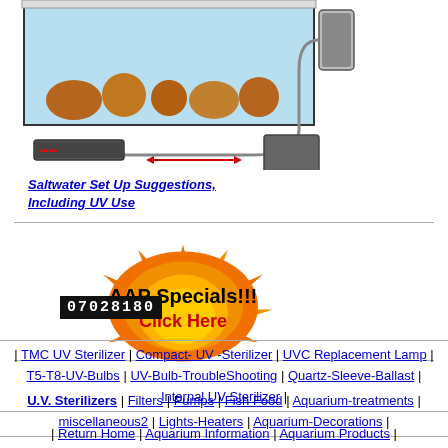[Figure (illustration): Saltwater aquarium setup diagram showing tank with corals, UV sterilizer, pump, and tubing connections]
Saltwater Set Up Suggestions, Including UV Use
[Figure (illustration): AAP Specials!!! Click Here - flame/sunburst graphic banner]
07028180
| TMC UV Sterilizer | Compact- UV -Sterilizer | UVC Replacement Lamp | T5-T8-UV-Bulbs | UV-Bulb-TroubleShooting | Quartz-Sleeve-Ballast | Internal UV Sterilizer |
U.V. Sterilizers | Filters | Pumps | Fish Food | Aquarium-treatments | miscellaneous2 | Lights-Heaters | Aquarium-Decorations |
| Return Home | Aquarium Information | Aquarium Products |